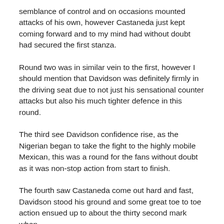semblance of control and on occasions mounted attacks of his own, however Castaneda just kept coming forward and to my mind had without doubt had secured the first stanza.
Round two was in similar vein to the first, however I should mention that Davidson was definitely firmly in the driving seat due to not just his sensational counter attacks but also his much tighter defence in this round.
The third see Davidson confidence rise, as the Nigerian began to take the fight to the highly mobile Mexican, this was a round for the fans without doubt as it was non-stop action from start to finish.
The fourth saw Castaneda come out hard and fast, Davidson stood his ground and some great toe to toe action ensued up to about the thirty second mark when